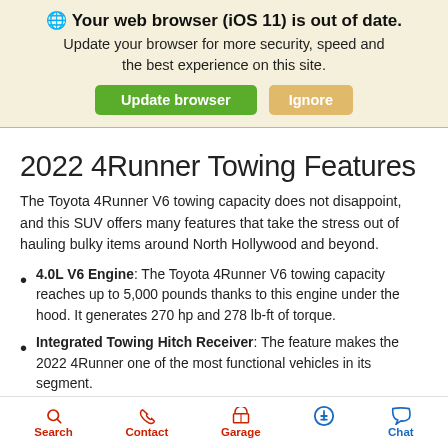🌐 Your web browser (iOS 11) is out of date. Update your browser for more security, speed and the best experience on this site.
2022 4Runner Towing Features
The Toyota 4Runner V6 towing capacity does not disappoint, and this SUV offers many features that take the stress out of hauling bulky items around North Hollywood and beyond.
4.0L V6 Engine: The Toyota 4Runner V6 towing capacity reaches up to 5,000 pounds thanks to this engine under the hood. It generates 270 hp and 278 lb-ft of torque.
Integrated Towing Hitch Receiver: The feature makes the 2022 4Runner one of the most functional vehicles in its segment.
Wiring Harness with 4- & 7-Pin Connectors: With this feature,
Search  Contact  Garage  [accessibility]  Chat